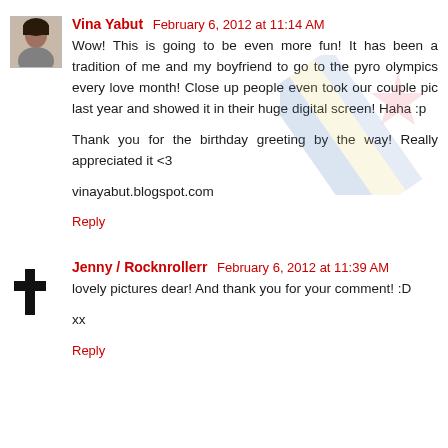Vina Yabut February 6, 2012 at 11:14 AM
Wow! This is going to be even more fun! It has been a tradition of me and my boyfriend to go to the pyro olympics every love month! Close up people even took our couple pic last year and showed it in their huge digital screen! Haha :p

Thank you for the birthday greeting by the way! Really appreciated it <3

vinayabut.blogspot.com
Reply
Jenny / Rocknrollerr February 6, 2012 at 11:39 AM
lovely pictures dear! And thank you for your comment! :D

xx
Reply